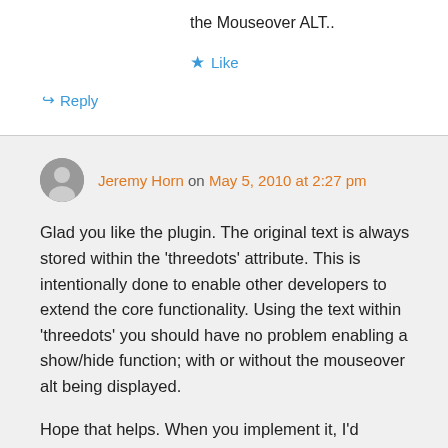the Mouseover ALT..
★ Like
↪ Reply
Jeremy Horn on May 5, 2010 at 2:27 pm
Glad you like the plugin. The original text is always stored within the 'threedots' attribute. This is intentionally done to enable other developers to extend the core functionality. Using the text within 'threedots' you should have no problem enabling a show/hide function; with or without the mouseover alt being displayed.
Hope that helps. When you implement it, I'd